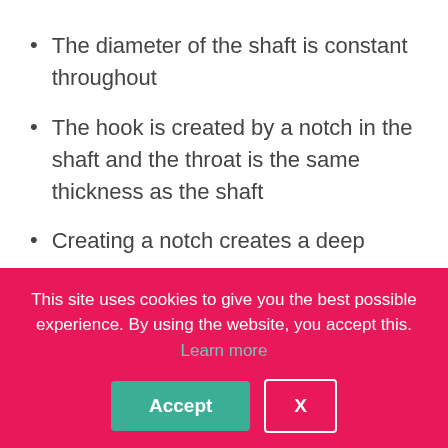The diameter of the shaft is constant throughout
The hook is created by a notch in the shaft and the throat is the same thickness as the shaft
Creating a notch creates a deep
This site uses cookies to give you the best possible experience. By using the website, you accept this. Learn more